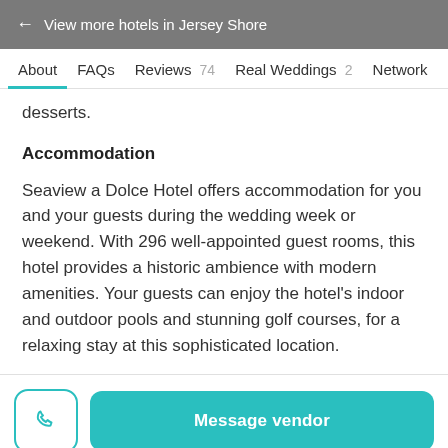← View more hotels in Jersey Shore
About  FAQs  Reviews 74  Real Weddings 2  Network
desserts.
Accommodation
Seaview a Dolce Hotel offers accommodation for you and your guests during the wedding week or weekend. With 296 well-appointed guest rooms, this hotel provides a historic ambience with modern amenities. Your guests can enjoy the hotel's indoor and outdoor pools and stunning golf courses, for a relaxing stay at this sophisticated location.
Message vendor